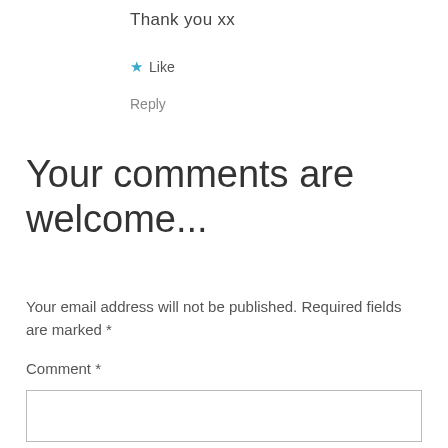Thank you xx
★ Like
Reply
Your comments are welcome...
Your email address will not be published. Required fields are marked *
Comment *